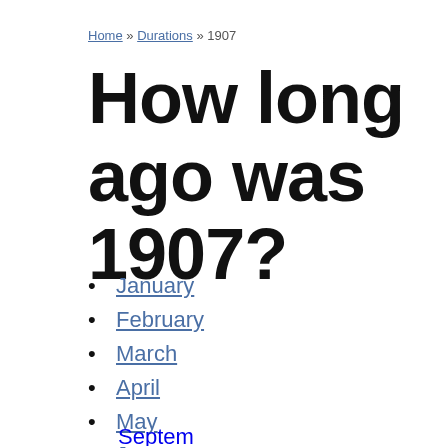Home » Durations » 1907
How long ago was 1907?
January
February
March
April
May
June
July
August
September (partial)